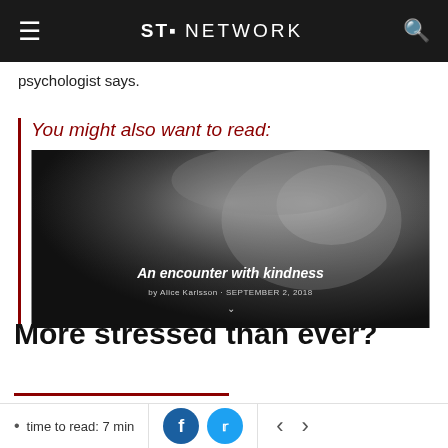ST. NETWORK
psychologist says.
You might also want to read:
[Figure (photo): Black and white close-up portrait of an elderly man's face in profile, smiling. Overlaid text reads 'An encounter with kindness'.]
More stressed than ever?
time to read: 7 min